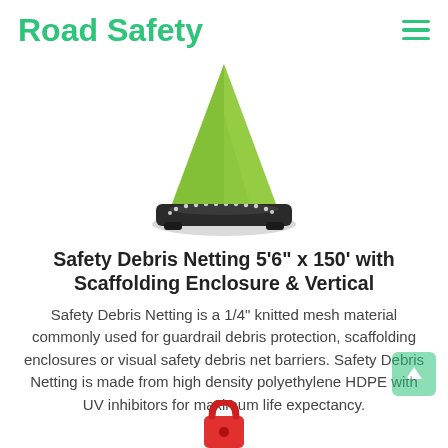Road Safety
[Figure (photo): A green and black traffic cone / delineator with a wide black base and green cone top, photographed from a slight angle above.]
Safety Debris Netting 5'6" x 150' with Scaffolding Enclosure & Vertical
Safety Debris Netting is a 1/4" knitted mesh material commonly used for guardrail debris protection, scaffolding enclosures or visual safety debris net barriers. Safety Debris Netting is made from high density polyethylene HDPE with UV inhibitors for maximum life expectancy.
[Figure (photo): Partial view of a red safety product at the bottom of the page, cut off.]